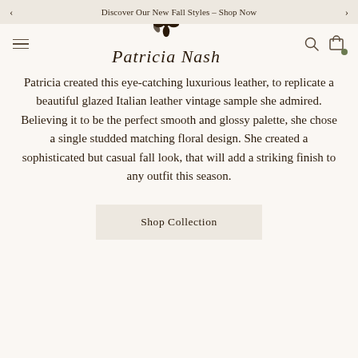Discover Our New Fall Styles – Shop Now
[Figure (logo): Patricia Nash cursive script logo with floral emblem above the text]
Patricia created this eye-catching luxurious leather, to replicate a beautiful glazed Italian leather vintage sample she admired. Believing it to be the perfect smooth and glossy palette, she chose a single studded matching floral design. She created a sophisticated but casual fall look, that will add a striking finish to any outfit this season.
Shop Collection